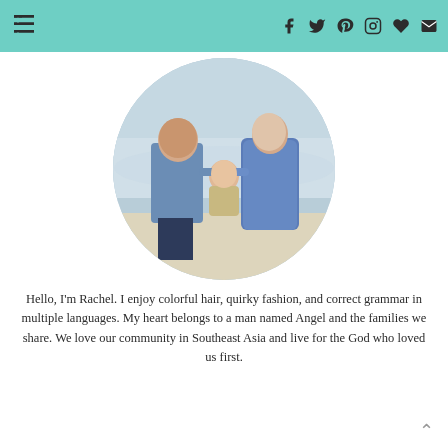Navigation header with menu icon and social media icons: Facebook, Twitter, Pinterest, Instagram, Heart/Bloglovin, Email
[Figure (photo): A circular cropped family photo of a man, woman, and baby standing on a beach. The man wears a blue shirt and jeans, the woman wears a long blue patterned dress, and they hold a smiling baby between them.]
Hello, I'm Rachel. I enjoy colorful hair, quirky fashion, and correct grammar in multiple languages. My heart belongs to a man named Angel and the families we share. We love our community in Southeast Asia and live for the God who loved us first.